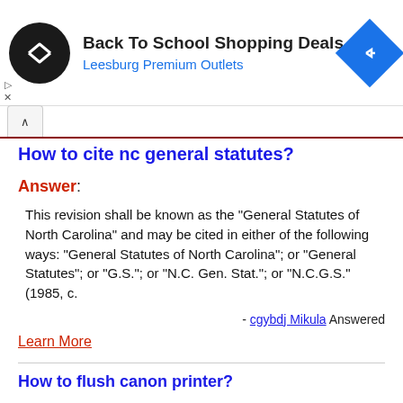[Figure (other): Advertisement banner: Back To School Shopping Deals at Leesburg Premium Outlets with logo and navigation icon]
How to cite nc general statutes?
Answer:
This revision shall be known as the "General Statutes of North Carolina" and may be cited in either of the following ways: "General Statutes of North Carolina"; or "General Statutes"; or "G.S."; or "N.C. Gen. Stat."; or "N.C.G.S." (1985, c.
- cgybdj Mikula Answered
Learn More
How to flush canon printer?